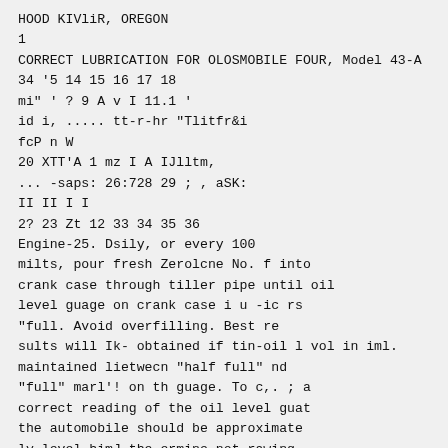HOOD KIVliR, OREGON
1
CORRECT LUBRICATION FOR OLOSMOBILE FOUR, Model 43-A
34 '5 14 15 16 17 18
mi" ' ? 9 A v I 11.1 '
id i, ..... tt-r-hr "Tlitfr&i
fcP n W
20 XTT'A 1 mz I A IJlltm,
... -saps: 26:728 29 ; , aSK:
II II I I
2? 23 Zt 12 33 34 35 36
Engine-25. Dsily, or every 100
milts, pour fresh Zerolcne No. f into
crank case through tiller pipe until oil
level guage on crank case i u -ic rs
"full. Avoid overfilling. Best re
sults will Ik- obtained if tin-oil l vol in iml.
maintained lietwecn "half full" nd
"full" marl'! on th guage. To c,. ; a
correct reading of the oil level guat
the automobile should be approximate
ly level himJ the ermine not rawing.
When engine in running, the oil
sun indicator on the dash theuld how